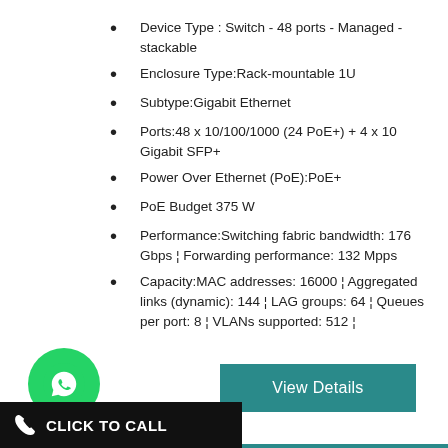Device Type : Switch - 48 ports - Managed - stackable
Enclosure Type:Rack-mountable 1U
Subtype:Gigabit Ethernet
Ports:48 x 10/100/1000 (24 PoE+) + 4 x 10 Gigabit SFP+
Power Over Ethernet (PoE):PoE+
PoE Budget 375 W
Performance:Switching fabric bandwidth: 176 Gbps ¦ Forwarding performance: 132 Mpps
Capacity:MAC addresses: 16000 ¦ Aggregated links (dynamic): 144 ¦ LAG groups: 64 ¦ Queues per port: 8 ¦ VLANs supported: 512 ¦
[Figure (logo): WhatsApp green circle button with phone handset icon]
View Details
CLICK TO CALL